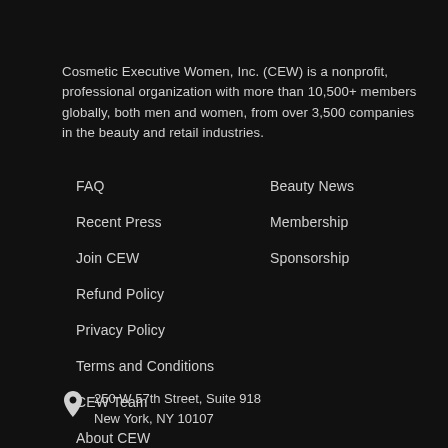Cosmetic Executive Women, Inc. (CEW) is a nonprofit, professional organization with more than 10,500+ members globally, both men and women, from over 3,500 companies in the beauty and retail industries.
FAQ
Recent Press
Join CEW
Refund Policy
Privacy Policy
Terms and Conditions
CEW Team
About CEW
Events
Awards & Honors
Beauty News
Membership
Sponsorship
250 W 57th Street, Suite 918
New York, NY 10107